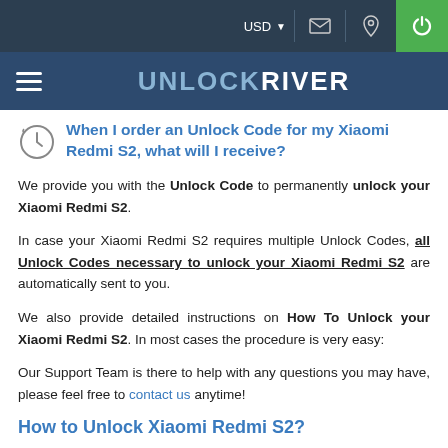USD | [mail icon] | [location icon] | [power icon]
UNLOCKRIVER
When I order an Unlock Code for my Xiaomi Redmi S2, what will I receive?
We provide you with the Unlock Code to permanently unlock your Xiaomi Redmi S2.
In case your Xiaomi Redmi S2 requires multiple Unlock Codes, all Unlock Codes necessary to unlock your Xiaomi Redmi S2 are automatically sent to you.
We also provide detailed instructions on How To Unlock your Xiaomi Redmi S2. In most cases the procedure is very easy:
Our Support Team is there to help with any questions you may have, please feel free to contact us anytime!
How to Unlock Xiaomi Redmi S2?